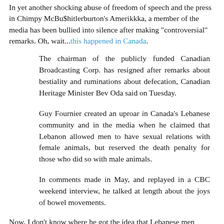In yet another shocking abuse of freedom of speech and the press in Chimpy McBu$hitlerburton's Amerikkka, a member of the media has been bullied into silence after making "controversial" remarks. Oh, wait...this happened in Canada.
The chairman of the publicly funded Canadian Broadcasting Corp. has resigned after remarks about bestiality and ruminations about defecation, Canadian Heritage Minister Bev Oda said on Tuesday.
Guy Fournier created an uproar in Canada's Lebanese community and in the media when he claimed that Lebanon allowed men to have sexual relations with female animals, but reserved the death penalty for those who did so with male animals.
In comments made in May, and replayed in a CBC weekend interview, he talked at length about the joys of bowel movements.
Now, I don't know where he got the idea that Lebanese men